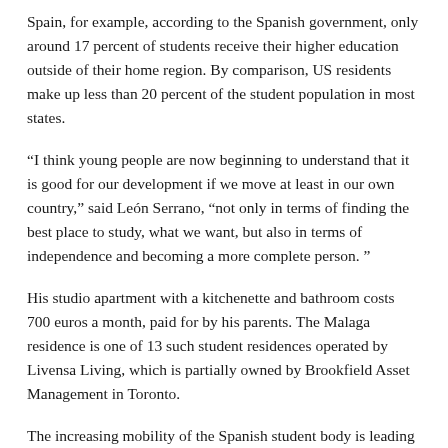Spain, for example, according to the Spanish government, only around 17 percent of students receive their higher education outside of their home region. By comparison, US residents make up less than 20 percent of the student population in most states.
“I think young people are now beginning to understand that it is good for our development if we move at least in our own country,” said León Serrano, “not only in terms of finding the best place to study, what we want, but also in terms of independence and becoming a more complete person. ”
His studio apartment with a kitchenette and bathroom costs 700 euros a month, paid for by his parents. The Malaga residence is one of 13 such student residences operated by Livensa Living, which is partially owned by Brookfield Asset Management in Toronto.
The increasing mobility of the Spanish student body is leading to an increase in investment in student dormitories, largely financed